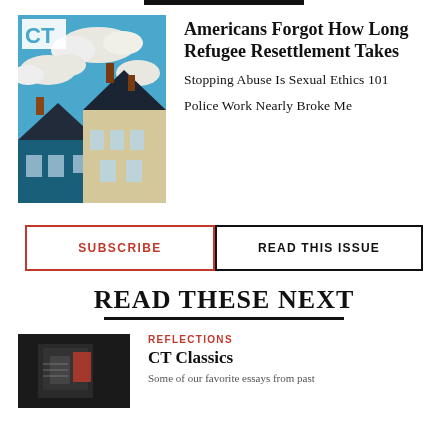[Figure (photo): CT magazine cover showing illustrated houses against a blue sky with clouds]
Americans Forgot How Long Refugee Resettlement Takes
Stopping Abuse Is Sexual Ethics 101
Police Work Nearly Broke Me
SUBSCRIBE
READ THIS ISSUE
READ THESE NEXT
[Figure (photo): Dark image of a publication or book with red design elements]
REFLECTIONS
CT Classics